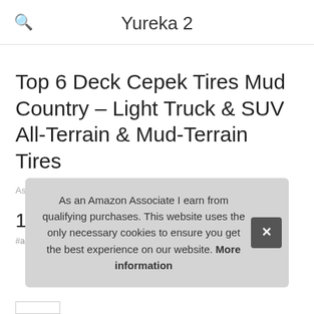Yureka 2
Top 6 Deck Cepek Tires Mud Country – Light Truck & SUV All-Terrain & Mud-Terrain Tires
As an Amazon Associate I earn from qualifying purchases.
1. Cooper
#ad
As an Amazon Associate I earn from qualifying purchases. This website uses the only necessary cookies to ensure you get the best experience on our website. More information